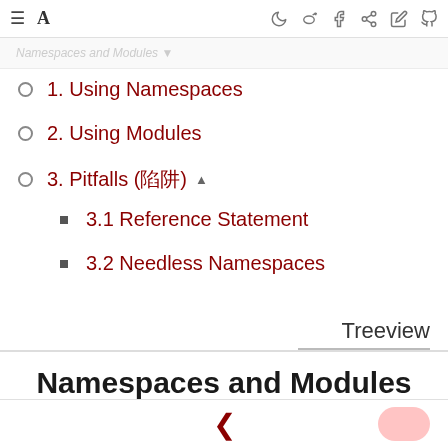≡  A  [icons: moon, weibo, facebook, share, edit, github]
1. Using Namespaces
2. Using Modules
3. Pitfalls (陷阱) ▲
3.1 Reference Statement
3.2 Needless Namespaces
Treeview
Namespaces and Modules
< [back navigation]